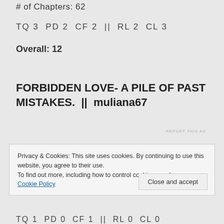# of Chapters: 62
TQ 3  PD 2  CF 2  ||  RL 2  CL 3
Overall: 12
FORBIDDEN LOVE- A PILE OF PAST MISTAKES.  ||  muliana67
REPORT THIS AD
Privacy & Cookies: This site uses cookies. By continuing to use this website, you agree to their use.
To find out more, including how to control cookies, see here:
Cookie Policy
Close and accept
TQ 1  PD 0  CF 1  ||  RL 0  CL 0